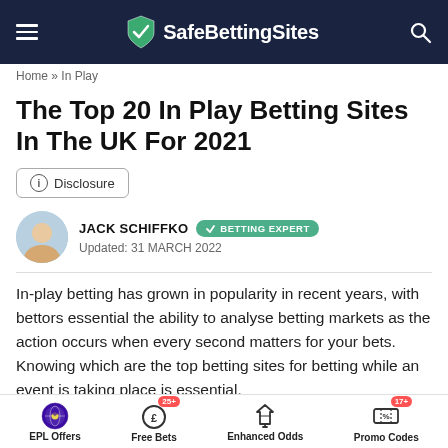SafeBettingSites
Home » In Play
The Top 20 In Play Betting Sites In The UK For 2021
Disclosure
JACK SCHIFFKO  BETTING EXPERT
Updated: 31 MARCH 2022
In-play betting has grown in popularity in recent years, with bettors essential the ability to analyse betting markets as the action occurs when every second matters for your bets. Knowing which are the top betting sites for betting while an event is taking place is essential.
EPL Offers   Free Bets 25+   Enhanced Odds   Promo Codes 17+